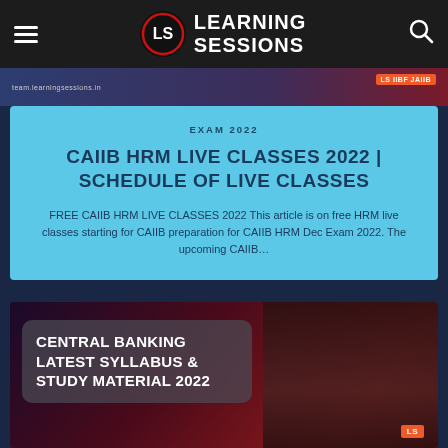[Figure (logo): Learning Sessions logo with LS badge and text]
[Figure (screenshot): Top strip showing partial video thumbnail with orange LS badge]
EXAM 2022
CAIIB HRM LIVE CLASSES 2022 | SCHEDULE OF LIVE CLASSES
FREE CAIIB HRM LIVE CLASSES 2022 This article is on free HRM live classes starting for CAIIB preparation for CAIIB HRM Dec Exam 2022. The upcoming CAIIB...
[Figure (photo): Central Banking Latest Syllabus & Study Material 2022 thumbnail with instructor photo]